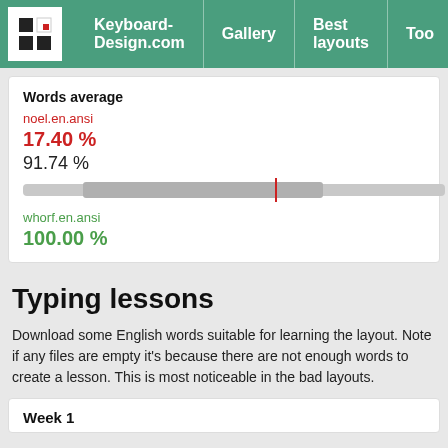Keyboard-Design.com | Gallery | Best layouts | Too
Words average
noel.en.ansi
17.40 %
91.74 %
[Figure (bar-chart): Horizontal bar chart showing a gray bar with a red vertical marker line roughly in the middle]
whorf.en.ansi
100.00 %
Typing lessons
Download some English words suitable for learning the layout. Note if any files are empty it's because there are not enough words to create a lesson. This is most noticeable in the bad layouts.
Week 1